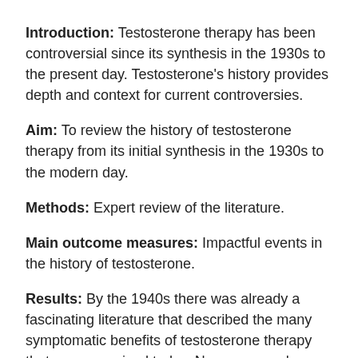Introduction: Testosterone therapy has been controversial since its synthesis in the 1930s to the present day. Testosterone's history provides depth and context for current controversies.
Aim: To review the history of testosterone therapy from its initial synthesis in the 1930s to the modern day.
Methods: Expert review of the literature.
Main outcome measures: Impactful events in the history of testosterone.
Results: By the 1940s there was already a fascinating literature that described the many symptomatic benefits of testosterone therapy that are recognized today. Numerous early reports suggested testosterone therapy improved